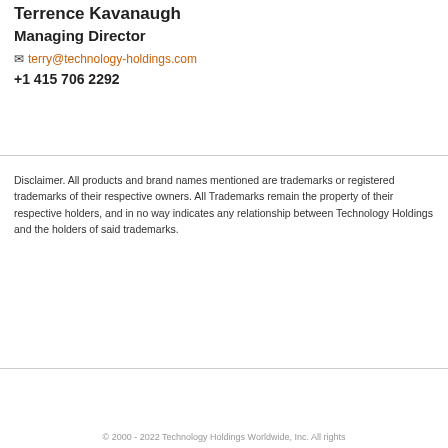Terrence Kavanaugh
Managing Director
✉ terry@technology-holdings.com
+1 415 706 2292
Disclaimer. All products and brand names mentioned are trademarks or registered trademarks of their respective owners. All Trademarks remain the property of their respective holders, and in no way indicates any relationship between Technology Holdings and the holders of said trademarks.
© 2000 - 2022 Technology Holdings Worldwide, Inc. All rights